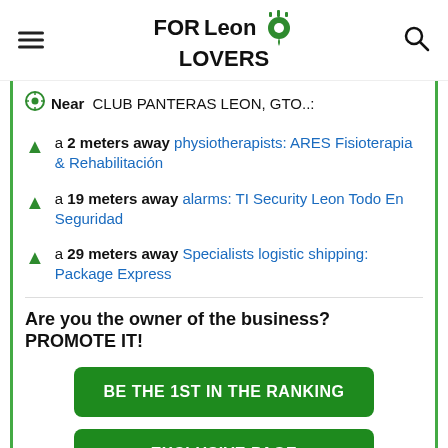FORLeon LOVERS
Near CLUB PANTERAS LEON, GTO..:
a 2 meters away physiotherapists: ARES Fisioterapia & Rehabilitación
a 19 meters away alarms: TI Security Leon Todo En Seguridad
a 29 meters away Specialists logistic shipping: Package Express
Are you the owner of the business? PROMOTE IT!
BE THE 1ST IN THE RANKING
EXCLUSIVE PAGE